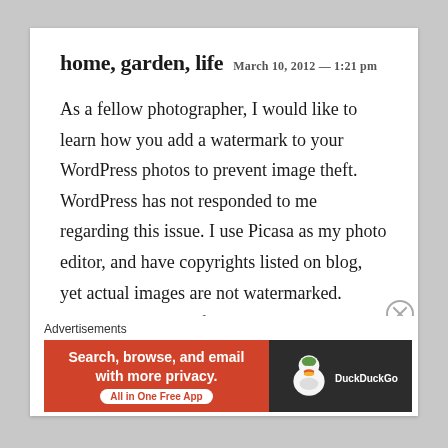home, garden, life  March 10, 2012 — 1:21 pm
As a fellow photographer, I would like to learn how you add a watermark to your WordPress photos to prevent image theft. WordPress has not responded to me regarding this issue. I use Picasa as my photo editor, and have copyrights listed on blog, yet actual images are not watermarked. Thanks and thanks for the great
[Figure (infographic): DuckDuckGo advertisement banner: orange left half with text 'Search, browse, and email with more privacy. All in One Free App', dark right half with DuckDuckGo duck logo]
Advertisements